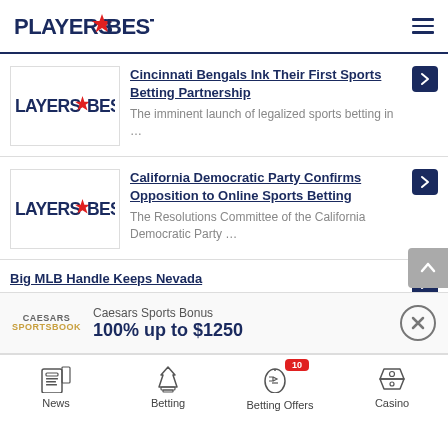PLAYERS BEST
[Figure (logo): PlayersBest logo with red star]
[Figure (logo): LayersBest logo thumbnail for article 1]
Cincinnati Bengals Ink Their First Sports Betting Partnership
The imminent launch of legalized sports betting in ...
[Figure (logo): LayersBest logo thumbnail for article 2]
California Democratic Party Confirms Opposition to Online Sports Betting
The Resolutions Committee of the California Democratic Party ...
Big MLB Handle Keeps Nevada
Caesars Sports Bonus
100% up to $1250
News | Betting | Betting Offers | Casino